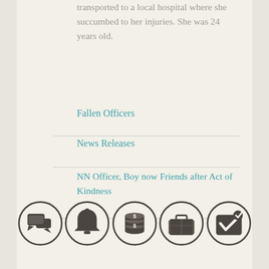transported to a local hospital where she succumbed to her injuries. She was 24 years old.
Fallen Officers
News Releases
NN Officer, Boy now Friends after Act of Kindness
[Figure (infographic): Five circular icon buttons at the bottom: chat/speech bubbles, bell/notification, coins/money, suitcase/luggage, and checkmark/checkbox]